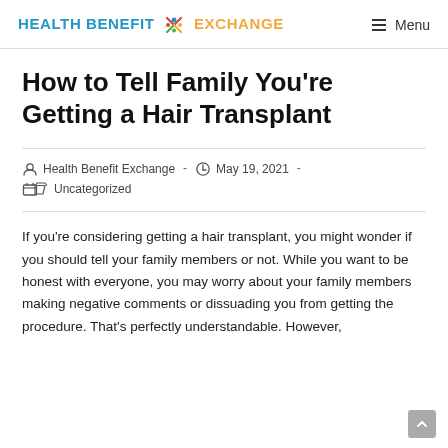HEALTH BENEFIT EXCHANGE  ☰ Menu
How to Tell Family You're Getting a Hair Transplant
Health Benefit Exchange  -  May 19, 2021  -  Uncategorized
If you're considering getting a hair transplant, you might wonder if you should tell your family members or not. While you want to be honest with everyone, you may worry about your family members making negative comments or dissuading you from getting the procedure. That's perfectly understandable. However,